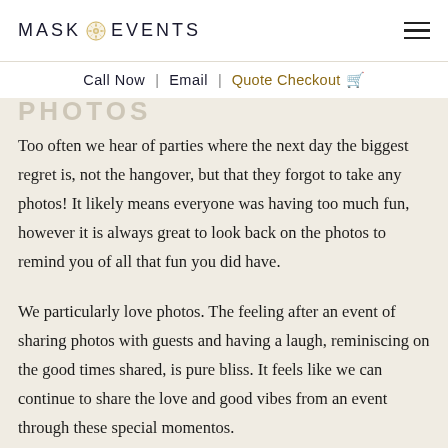MASK EVENTS [logo emblem] — hamburger menu
Call Now | Email | Quote Checkout
PHOTOS
Too often we hear of parties where the next day the biggest regret is, not the hangover, but that they forgot to take any photos! It likely means everyone was having too much fun, however it is always great to look back on the photos to remind you of all that fun you did have.
We particularly love photos. The feeling after an event of sharing photos with guests and having a laugh, reminiscing on the good times shared, is pure bliss. It feels like we can continue to share the love and good vibes from an event through these special momentos.